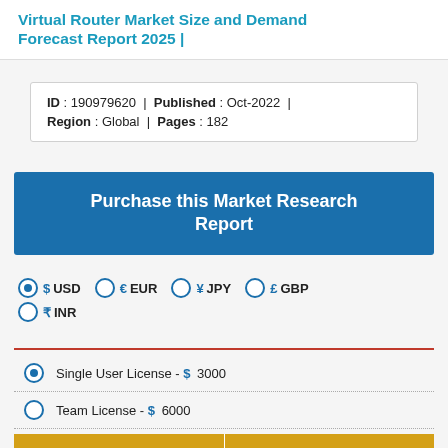Virtual Router Market Size and Demand Forecast Report 2025 |
| ID : 190979620 | | | Published : Oct-2022 | | |
| Region : Global | | | Pages : 182 |  |
Purchase this Market Research Report
$ USD  € EUR  ¥ JPY  £ GBP  ₹ INR
Single User License - $ 3000
Team License - $ 6000
Corporate License - $ 6000